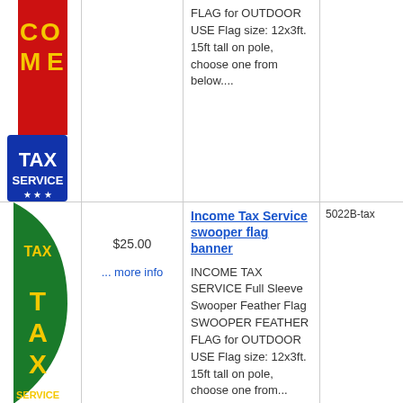[Figure (illustration): Red and blue Income Tax Service swooper feather flag banner with yellow text reading INCOME TAX SERVICE and stars]
FLAG for OUTDOOR USE Flag size: 12x3ft. 15ft tall on pole, choose one from below....
[Figure (illustration): Green Income Tax Service swooper feather flag banner with yellow text reading TAX SERVICE]
$25.00
... more info
Income Tax Service swooper flag banner
5022B-tax
INCOME TAX SERVICE Full Sleeve Swooper Feather Flag SWOOPER FEATHER FLAG for OUTDOOR USE Flag size: 12x3ft. 15ft tall on pole, choose one from...